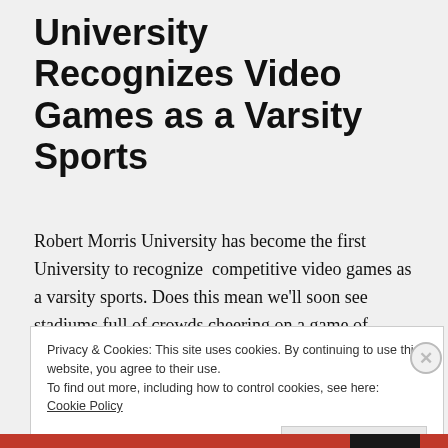University Recognizes Video Games as a Varsity Sports
Robert Morris University has become the first University to recognize  competitive video games as a varsity sports. Does this mean we'll soon see stadiums full of crowds cheering on a game of “Blades of Steel”?
Privacy & Cookies: This site uses cookies. By continuing to use this website, you agree to their use.
To find out more, including how to control cookies, see here:
Cookie Policy
[Close and accept]